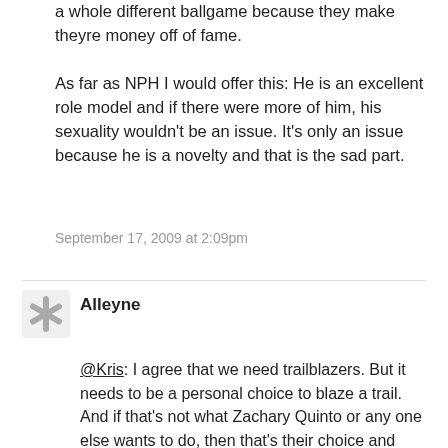a whole different ballgame because they make theyre money off of fame.
As far as NPH I would offer this: He is an excellent role model and if there were more of him, his sexuality wouldn't be an issue. It's only an issue because he is a novelty and that is the sad part.
September 17, 2009 at 2:09pm
Alleyne
@Kris: I agree that we need trailblazers. But it needs to be a personal choice to blaze a trail. And if that's not what Zachary Quinto or any one else wants to do, then that's their choice and that needs to be respected. If someone is going to put their life and their career and their livelihood on the line, then it needs to be done entirely freely. NPH and TR Knight didn't come out freely, both were essentially forced to make public statements after the thoughtless or